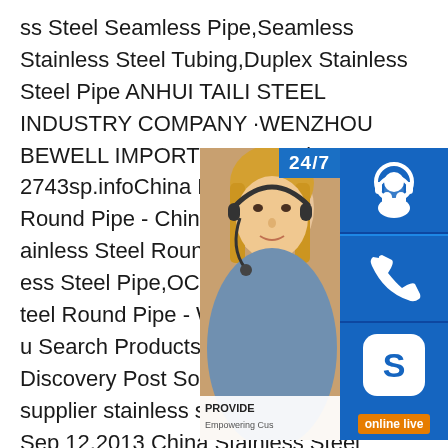ss Steel Seamless Pipe,Seamless Stainless Steel Tubing,Duplex Stainless Steel Pipe ANHUI TAILI STEEL INDUSTRY COMPANY ·WENZHOU BEWELL IMPORT CO.,LTD· ( 2743sp.infoChina Pickled Stainless Steel Round Pipe - China China Pickled Stainless Steel Round Pipe,Find details about Stainless Steel Pipe,OCTG from Pickled Seamless Stainless Steel Round Pipe - Wenzhou Bolai Stainless u Search Products Suppliers Product Discovery Post Sourcing Requestsp.info supplier stainless steel pipe mill machine Sep 12,2013 China Stainless Steel Seamless Pipe supplier,Stainless Steel Pipe,Seamless Pipe Manufacturers/ Suppliers Wenzhou Yada Steel Pipe Factory.Sign In.Join Free For Buyer.Search Products Suppliers new type long stroke cold rolling mill straightening machine hydrostatic testing machine
[Figure (photo): Customer service representative with headset overlay panel showing 24/7 support icons including phone support, Skype icon, and online live chat button with PROVIDE Empowering Customers branding]